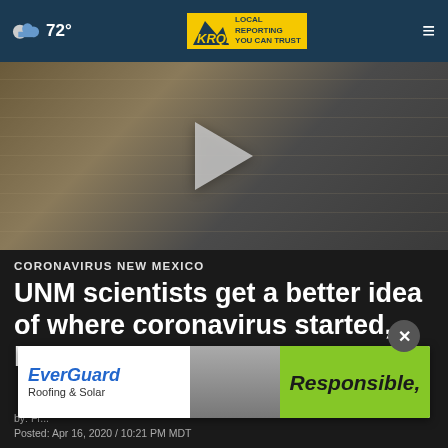72° | KRQE LOCAL REPORTING YOU CAN TRUST
[Figure (screenshot): Video thumbnail showing laboratory equipment, with a white play button triangle in the center]
CORONAVIRUS NEW MEXICO
UNM scientists get a better idea of where coronavirus started, how the spread will continue
[Figure (photo): EverGuard Roofing & Solar advertisement banner with green 'Responsible,' text on right side]
by: Fr...
Posted: Apr 16, 2020 / 10:21 PM MDT